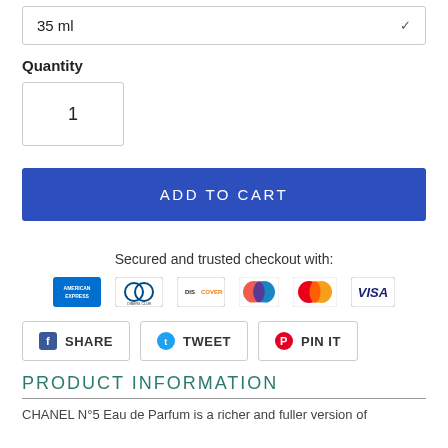35 ml
Quantity
1
ADD TO CART
Secured and trusted checkout with:
[Figure (logo): Payment method logos: American Express, Diners Club, Discover, Maestro, Mastercard, Visa]
SHARE  TWEET  PIN IT
PRODUCT INFORMATION
CHANEL N°5 Eau de Parfum is a richer and fuller version of